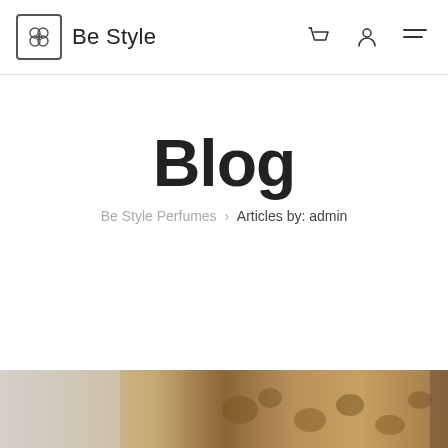Be Style
Blog
Be Style Perfumes > Articles by: admin
[Figure (photo): Bottom portion of a fashion/lifestyle photo showing fur and leopard print fabrics]